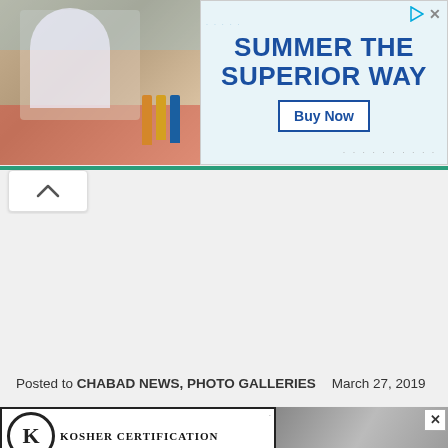[Figure (photo): Top advertisement banner with photo of person at outdoor cafe table with drinks on left, and 'SUMMER THE SUPERIOR WAY' text with Buy Now button on right]
[Figure (screenshot): Collapse/chevron button below green navigation bar]
Posted to CHABAD NEWS, PHOTO GALLERIES   March 27, 2019
[Figure (logo): Kosher Certification logo with K in circle on left, and grayscale image on right with X close button]
[Figure (photo): Bottom advertisement bar with 'The perfect gift' text, carousel controls, product image, and 35% OFF + FREE SHIPPING offer]